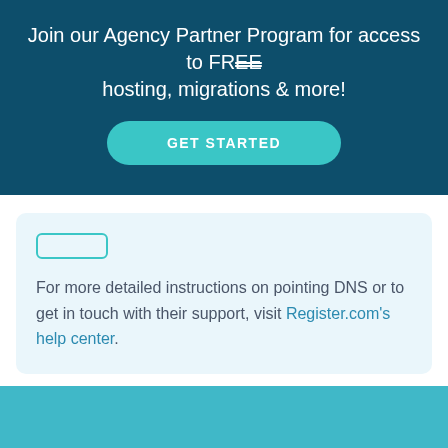Join our Agency Partner Program for access to FREE hosting, migrations & more!
GET STARTED
For more detailed instructions on pointing DNS or to get in touch with their support, visit Register.com's help center.
[Figure (other): Teal footer banner at bottom of page, partially visible]